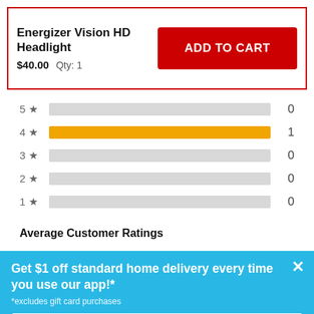Energizer Vision HD Headlight
$40.00  Qty: 1
ADD TO CART
[Figure (bar-chart): Star Ratings]
Average Customer Ratings
Get $1 off standard home delivery every time you use our app!*
*excludes gift card purchases
LEARN MORE